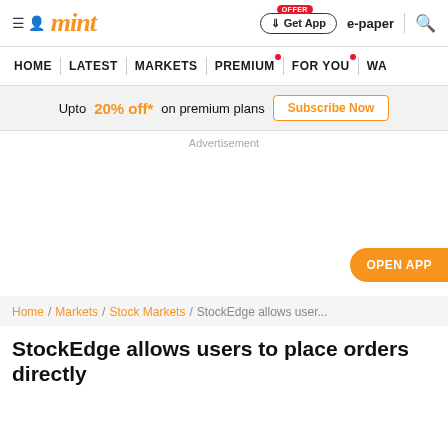mint
HOME | LATEST | MARKETS | PREMIUM | FOR YOU | WA...
Upto 20% off* on premium plans  Subscribe Now
Advertisement
OPEN APP
Home / Markets / Stock Markets / StockEdge allows user...
StockEdge allows users to place orders directly